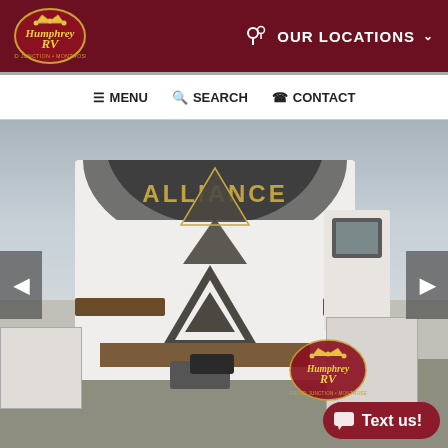Humphrey RV — OUR LOCATIONS
☰ MENU  🔍 SEARCH  ☎ CONTACT
[Figure (photo): Rear view of an Alliance fifth-wheel RV trailer parked in a dealership lot. The rear of the trailer features the 'ALLIANCE' brand logo with a large triangular emblem. Other RVs are visible in the background. Humphrey RV watermark logo overlaid on bottom right. Left and right navigation arrows on the sides.]